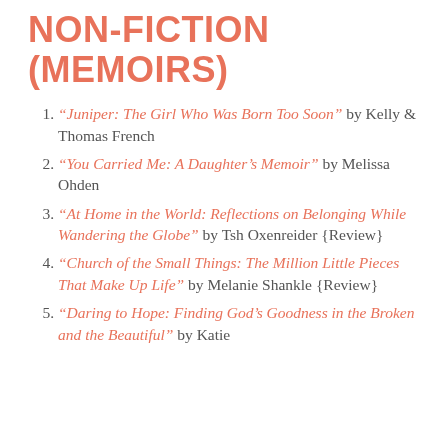NON-FICTION (MEMOIRS)
“Juniper: The Girl Who Was Born Too Soon” by Kelly & Thomas French
“You Carried Me: A Daughter’s Memoir” by Melissa Ohden
“At Home in the World: Reflections on Belonging While Wandering the Globe” by Tsh Oxenreider {Review}
“Church of the Small Things: The Million Little Pieces That Make Up Life” by Melanie Shankle {Review}
“Daring to Hope: Finding God’s Goodness in the Broken and the Beautiful” by Katie...{Review}